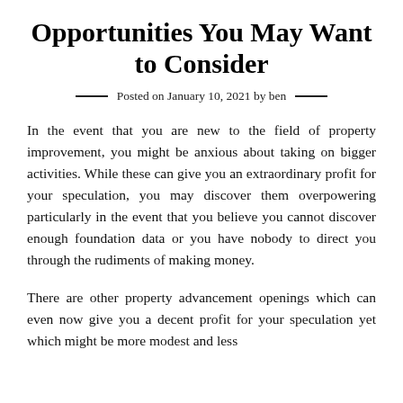Opportunities You May Want to Consider
Posted on January 10, 2021 by ben
In the event that you are new to the field of property improvement, you might be anxious about taking on bigger activities. While these can give you an extraordinary profit for your speculation, you may discover them overpowering particularly in the event that you believe you cannot discover enough foundation data or you have nobody to direct you through the rudiments of making money.
There are other property advancement openings which can even now give you a decent profit for your speculation yet which might be more modest and less